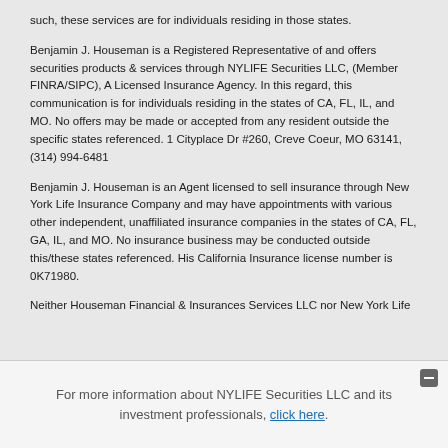such, these services are for individuals residing in those states.
Benjamin J. Houseman is a Registered Representative of and offers securities products & services through NYLIFE Securities LLC, (Member FINRA/SIPC), A Licensed Insurance Agency. In this regard, this communication is for individuals residing in the states of CA, FL, IL, and MO. No offers may be made or accepted from any resident outside the specific states referenced. 1 Cityplace Dr #260, Creve Coeur, MO 63141, (314) 994-6481
Benjamin J. Houseman is an Agent licensed to sell insurance through New York Life Insurance Company and may have appointments with various other independent, unaffiliated insurance companies in the states of CA, FL, GA, IL, and MO. No insurance business may be conducted outside this/these states referenced. His California Insurance license number is 0K71980.
Neither Houseman Financial & Insurances Services LLC nor New York Life
For more information about NYLIFE Securities LLC and its investment professionals, click here.